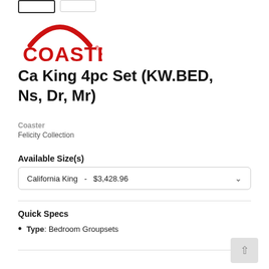[Figure (logo): Coaster brand logo with red arc above bold red COASTER text with trademark symbol]
Ca King 4pc Set (KW.BED, Ns, Dr, Mr)
Coaster
Felicity Collection
Available Size(s)
California King  -  $3,428.96
Quick Specs
Type: Bedroom Groupsets